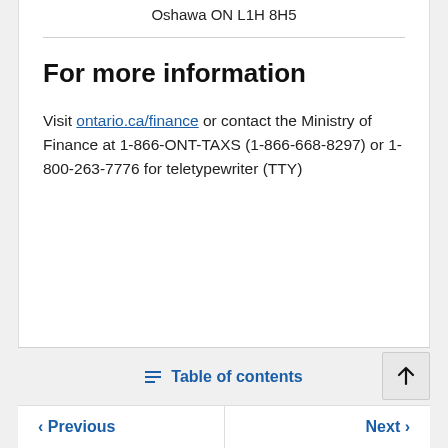Oshawa ON L1H 8H5
For more information
Visit ontario.ca/finance or contact the Ministry of Finance at 1-866-ONT-TAXS (1-866-668-8297) or 1-800-263-7776 for teletypewriter (TTY)
Table of contents | Previous | Next